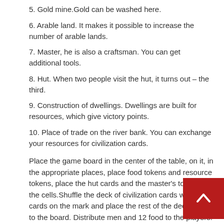5. Gold mine.Gold can be washed here.
6. Arable land. It makes it possible to increase the number of arable lands.
7. Master, he is also a craftsman. You can get additional tools.
8. Hut. When two people visit the hut, it turns out – the third.
9. Construction of dwellings. Dwellings are built for resources, which give victory points.
10. Place of trade on the river bank. You can exchange your resources for civilization cards.
Place the game board in the center of the table, on it, in the appropriate places, place food tokens and resource tokens, place the hut cards and the master's tools in the cells.Shuffle the deck of civilization cards well, put 4 cards on the mark and place the rest of the deck next to the board. Distribute men and 12 food to the players.
Randomly select the first player.
You can start.